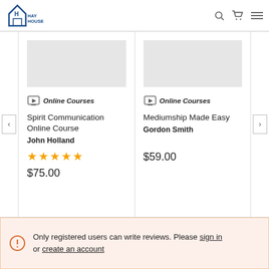[Figure (logo): Hay House logo with house icon and text HAY HOUSE]
[Figure (screenshot): Navigation icons: search, cart, hamburger menu]
[Figure (screenshot): Left carousel navigation button with < arrow]
Online Courses
Spirit Communication Online Course
John Holland
[Figure (infographic): 5 yellow star rating]
$75.00
Online Courses
Mediumship Made Easy
Gordon Smith
$59.00
[Figure (screenshot): Right carousel navigation button with > arrow]
Only registered users can write reviews. Please sign in or create an account